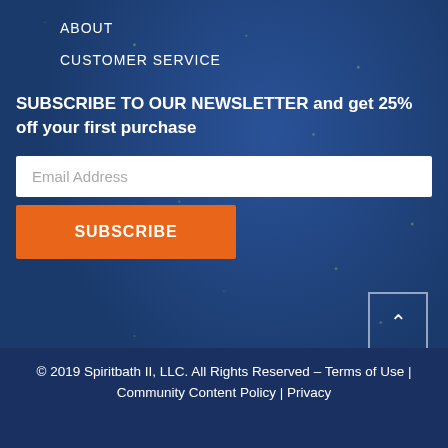ABOUT
CUSTOMER SERVICE
SUBSCRIBE TO OUR NEWSLETTER and get 25% off your first purchase
Email Address
SUBSCRIBE
© 2019 Spiritbath II, LLC. All Rights Reserved – Terms of Use | Community Content Policy | Privacy